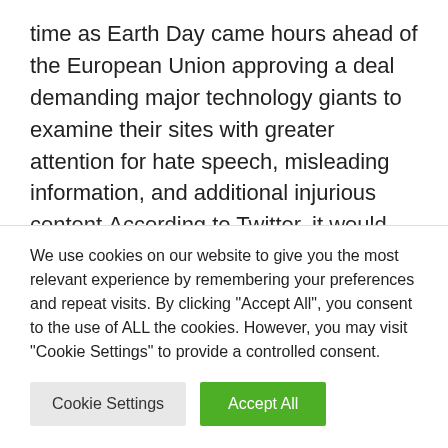time as Earth Day came hours ahead of the European Union approving a deal demanding major technology giants to examine their sites with greater attention for hate speech, misleading information, and additional injurious content.According to Twitter, it would offer more details in this regard in a couple of coming months and also will inform how it is intending to offer authentic, commanding context to the climate conversations its users participate in, comprising same from the Intergovernmental Panel on Climate Change. As per the
We use cookies on our website to give you the most relevant experience by remembering your preferences and repeat visits. By clicking "Accept All", you consent to the use of ALL the cookies. However, you may visit "Cookie Settings" to provide a controlled consent.